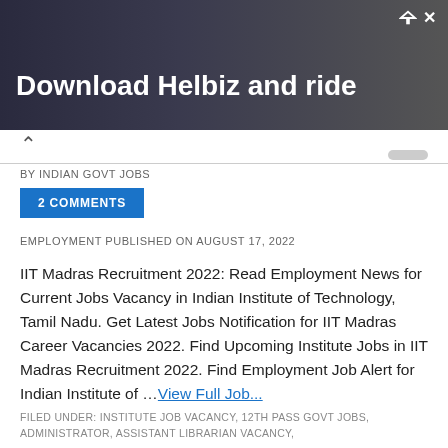[Figure (photo): Advertisement banner with dark background showing a person with camera equipment and text 'Download Helbiz and ride']
BY INDIAN GOVT JOBS
2 COMMENTS
EMPLOYMENT PUBLISHED ON AUGUST 17, 2022
IIT Madras Recruitment 2022: Read Employment News for Current Jobs Vacancy in Indian Institute of Technology, Tamil Nadu. Get Latest Jobs Notification for IIT Madras Career Vacancies 2022. Find Upcoming Institute Jobs in IIT Madras Recruitment 2022. Find Employment Job Alert for Indian Institute of …View Full Job...
FILED UNDER: INSTITUTE JOB VACANCY, 12TH PASS GOVT JOBS, ADMINISTRATOR, ASSISTANT LIBRARIAN VACANCY,